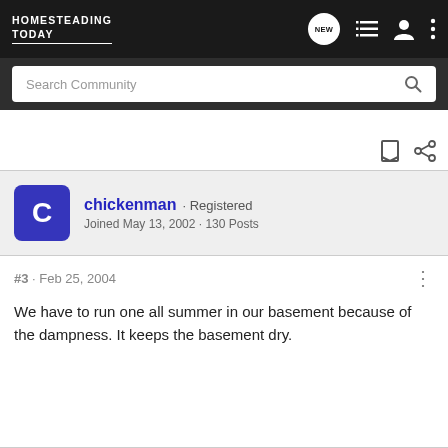HOMESTEADING TODAY
Search Community
chickenman · Registered
Joined May 13, 2002 · 130 Posts
#3 · Feb 25, 2004
We have to run one all summer in our basement because of the dampness. It keeps the basement dry.